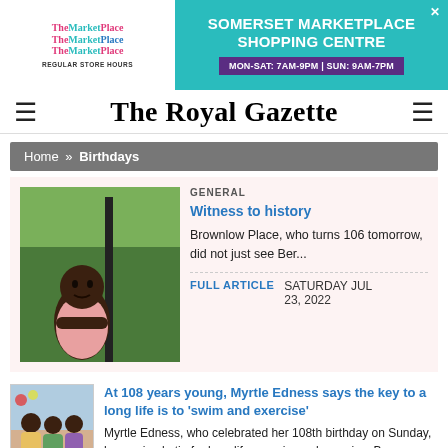[Figure (other): TheMarketPlace advertisement banner with logo on left and Somerset Marketplace Shopping Centre text on right, showing store hours MON-SAT: 7AM-9PM | SUN: 9AM-7PM]
The Royal Gazette
Home » Birthdays
[Figure (photo): Photo of elderly Black man in pink shirt standing with arms crossed in front of green foliage]
GENERAL
Witness to history
Brownlow Place, who turns 106 tomorrow, did not just see Ber...
FULL ARTICLE    SATURDAY JUL 23, 2022
[Figure (photo): Small thumbnail photo of elderly woman with others at a birthday celebration]
At 108 years young, Myrtle Edness says the key to a long life is to 'swim and exercise'
Myrtle Edness, who celebrated her 108th birthday on Sunday, has a simple tip for long life — swim and exercise. Born on Ord Road before moving to